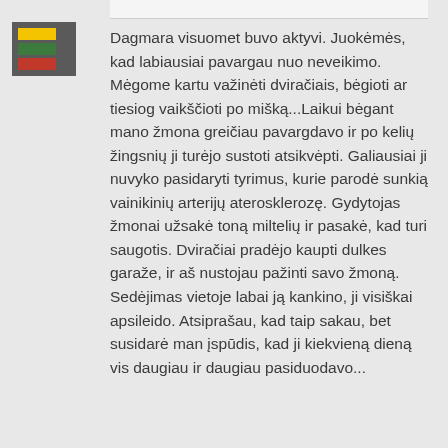Dagmara visuomet buvo aktyvi. Juokėmės, kad labiausiai pavargau nuo neveikimo. Mėgome kartu važinėti dviračiais, bėgioti ar tiesiog vaikščioti po mišką...Laikui bėgant mano žmona greičiau pavargdavo ir po kelių žingsnių ji turėjo sustoti atsikvėpti. Galiausiai ji nuvyko pasidaryti tyrimus, kurie parodė sunkią vainikinių arterijų aterosklerozę. Gydytojas žmonai užsakė toną miltelių ir pasakė, kad turi saugotis. Dviračiai pradėjo kaupti dulkes garaže, ir aš nustojau pažinti savo žmoną. Sedėjimas vietoje labai ją kankino, ji visiškai apsileido. Atsiprašau, kad taip sakau, bet susidarė man įspūdis, kad ji kiekvieną dieną vis daugiau ir daugiau pasiduodavo...